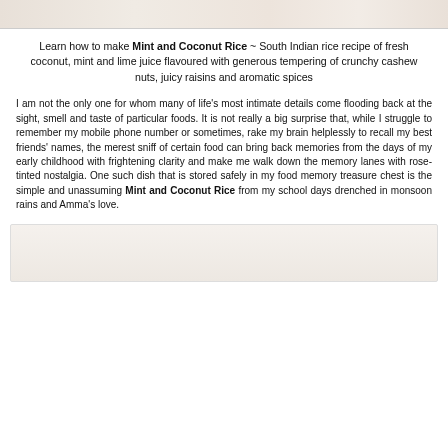[Figure (photo): Top portion of a food photo showing Mint and Coconut Rice dish, cropped at top of page]
Learn how to make Mint and Coconut Rice ~ South Indian rice recipe of fresh coconut, mint and lime juice flavoured with generous tempering of crunchy cashew nuts, juicy raisins and aromatic spices
I am not the only one for whom many of life's most intimate details come flooding back at the sight, smell and taste of particular foods. It is not really a big surprise that, while I struggle to remember my mobile phone number or sometimes, rake my brain helplessly to recall my best friends' names, the merest sniff of certain food can bring back memories from the days of my early childhood with frightening clarity and make me walk down the memory lanes with rose-tinted nostalgia. One such dish that is stored safely in my food memory treasure chest is the simple and unassuming Mint and Coconut Rice from my school days drenched in monsoon rains and Amma's love.
[Figure (photo): Bottom portion of another food photo, partially visible at bottom of page]